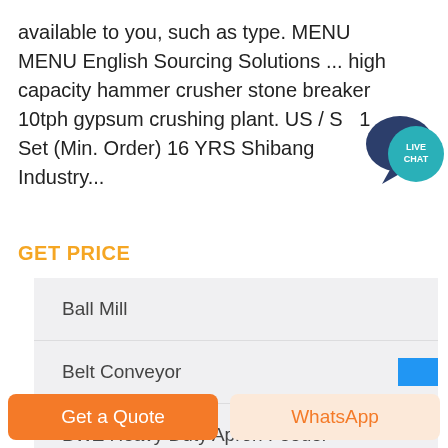available to you, such as type. MENU MENU English Sourcing Solutions ... high capacity hammer crusher stone breaker 10tph gypsum crushing plant. US / S... 1 Set (Min. Order) 16 YRS Shibang Industry...
[Figure (other): Live Chat speech bubble icon in dark blue with teal circle overlay showing 'LIVE CHAT' text]
GET PRICE
Ball Mill
Belt Conveyor
BWZ Heavy Duty Apron Feeder
CS Cone Crusher
Get a Quote
WhatsApp